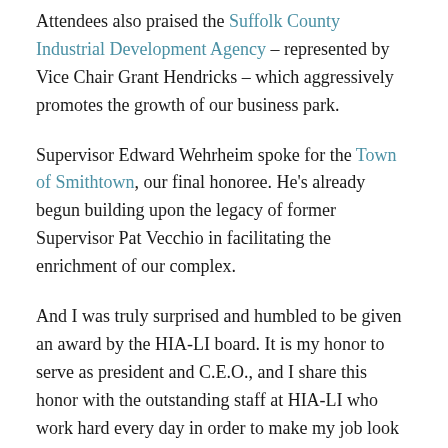Attendees also praised the Suffolk County Industrial Development Agency – represented by Vice Chair Grant Hendricks – which aggressively promotes the growth of our business park.
Supervisor Edward Wehrheim spoke for the Town of Smithtown, our final honoree. He's already begun building upon the legacy of former Supervisor Pat Vecchio in facilitating the enrichment of our complex.
And I was truly surprised and humbled to be given an award by the HIA-LI board. It is my honor to serve as president and C.E.O., and I share this honor with the outstanding staff at HIA-LI who work hard every day in order to make my job look easy.
We also recounted some of HIA-LI's achievements over